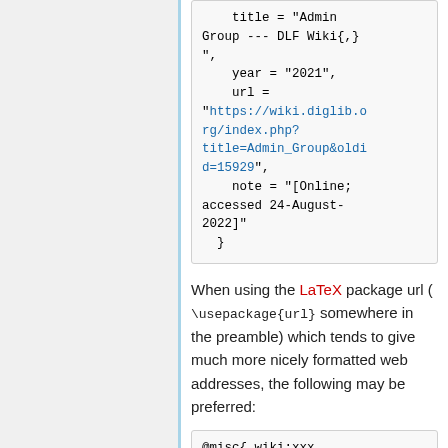title = "Admin Group --- DLF Wiki{,}",
    year = "2021",
    url = "https://wiki.diglib.org/index.php?title=Admin_Group&oldid=15929",
    note = "[Online; accessed 24-August-2022]"
  }
When using the LaTeX package url ( \usepackage{url} somewhere in the preamble) which tends to give much more nicely formatted web addresses, the following may be preferred:
@misc{ wiki:xxx,